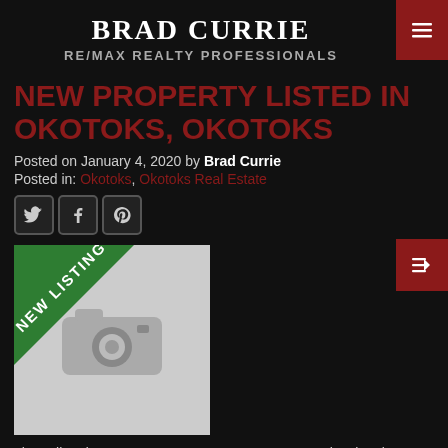BRAD CURRIE
RE/MAX REALTY PROFESSIONALS
NEW PROPERTY LISTED IN OKOTOKS, OKOTOKS
Posted on January 4, 2020 by Brad Currie
Posted in: Okotoks, Okotoks Real Estate
[Figure (photo): New listing placeholder image with camera icon and green 'NEW LISTING' diagonal banner]
I have listed a new property at 112 THORSON CR in Okotoks.